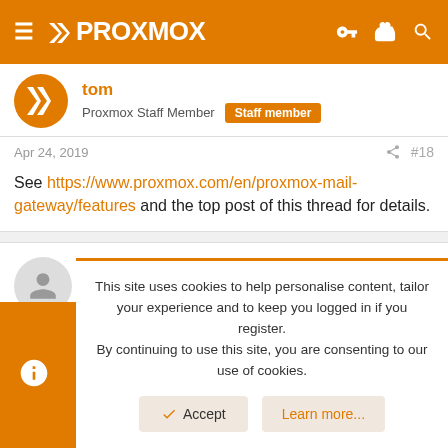PROXMOX
tom
Proxmox Staff Member  Staff member
Apr 24, 2019  #18
See https://www.proxmox.com/en/proxmox-mail-gateway/features and the top post of this thread for details.
snaykkepitt
New Member
This site uses cookies to help personalise content, tailor your experience and to keep you logged in if you register. By continuing to use this site, you are consenting to our use of cookies.
Accept  Learn more...